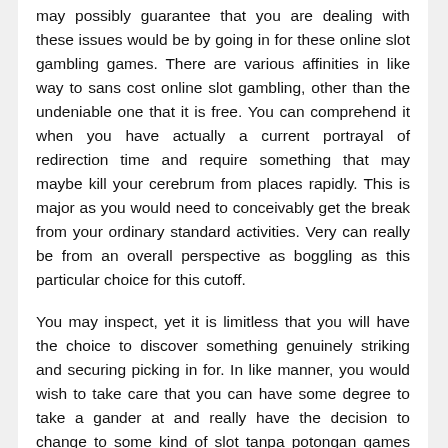may possibly guarantee that you are dealing with these issues would be by going in for these online slot gambling games. There are various affinities in like way to sans cost online slot gambling, other than the undeniable one that it is free. You can comprehend it when you have actually a current portrayal of redirection time and require something that may maybe kill your cerebrum from places rapidly. This is major as you would need to conceivably get the break from your ordinary standard activities. Very can really be from an overall perspective as boggling as this particular choice for this cutoff.
You may inspect, yet it is limitless that you will have the choice to discover something genuinely striking and securing picking in for. In like manner, you would wish to take care that you can have some degree to take a gander at and really have the decision to change to some kind of slot tanpa potongan games when you are depleted with kind you are playing now. Reach is absolutely a cerebrum blowing choice to have, without which you could see it astoundingly hard to continue as curious concerning the website for a sincere time frame outline layout chart